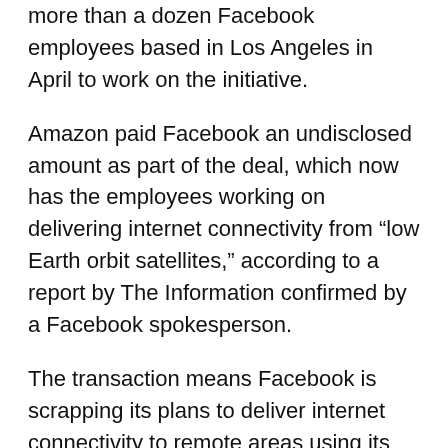more than a dozen Facebook employees based in Los Angeles in April to work on the initiative.
Amazon paid Facebook an undisclosed amount as part of the deal, which now has the employees working on delivering internet connectivity from “low Earth orbit satellites,” according to a report by The Information confirmed by a Facebook spokesperson.
The transaction means Facebook is scrapping its plans to deliver internet connectivity to remote areas using its own satellites, an effort that started in 2018 as a way “to bring broadband connectivity to rural regions where internet connectivity is lacking or nonexistent.” Facebook had also tried to use